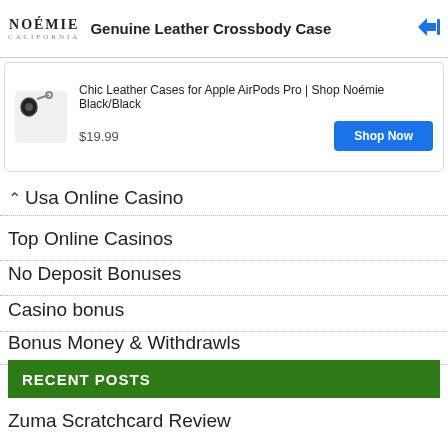[Figure (screenshot): Advertisement banner for NOEMIE Genuine Leather Crossbody Case with logo and title]
[Figure (screenshot): Ad card showing AirPods leather case, price $19.99, and Shop Now button]
Usa Online Casino
Top Online Casinos
No Deposit Bonuses
Casino bonus
Bonus Money & Withdrawls
Find us on Google+
RECENT POSTS
Zuma Scratchcard Review